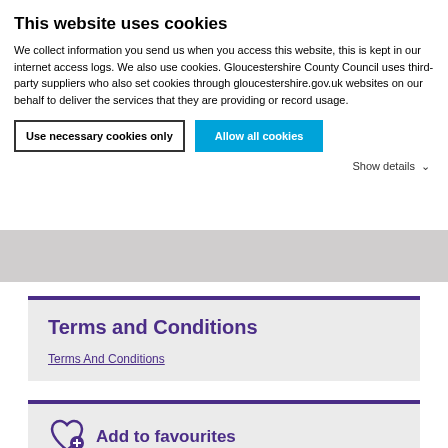This website uses cookies
We collect information you send us when you access this website, this is kept in our internet access logs. We also use cookies. Gloucestershire County Council uses third-party suppliers who also set cookies through gloucestershire.gov.uk websites on our behalf to deliver the services that they are providing or record usage.
Use necessary cookies only | Allow all cookies | Show details
Terms and Conditions
Terms And Conditions
Add to favourites